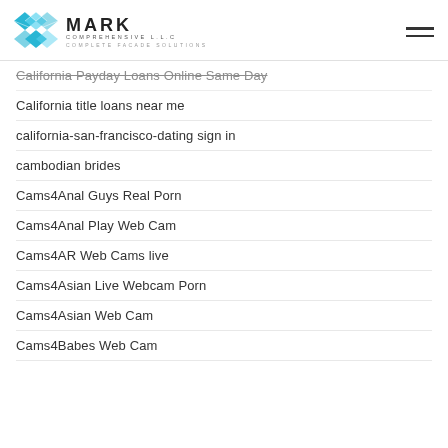MARK COMPREHENSIVE L.L.C — Complete Facade Solutions
California Payday Loans Online Same Day
California title loans near me
california-san-francisco-dating sign in
cambodian brides
Cams4Anal Guys Real Porn
Cams4Anal Play Web Cam
Cams4AR Web Cams live
Cams4Asian Live Webcam Porn
Cams4Asian Web Cam
Cams4Babes Web Cam